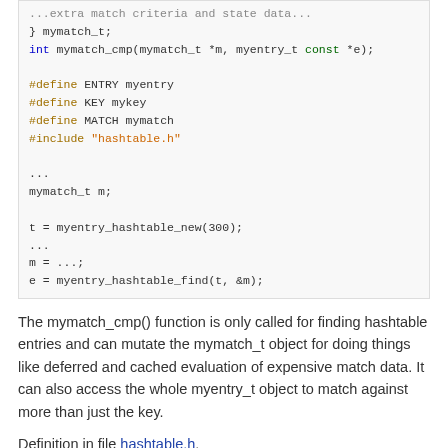[Figure (other): Code block showing C code with mymatch_t struct, preprocessor defines, hashtable include, and usage example with myentry_hashtable_new and myentry_hashtable_find]
The mymatch_cmp() function is only called for finding hashtable entries and can mutate the mymatch_t object for doing things like deferred and cached evaluation of expensive match data. It can also access the whole myentry_t object to match against more than just the key.
Definition in file hashtable.h.
Macro Definition Documentation